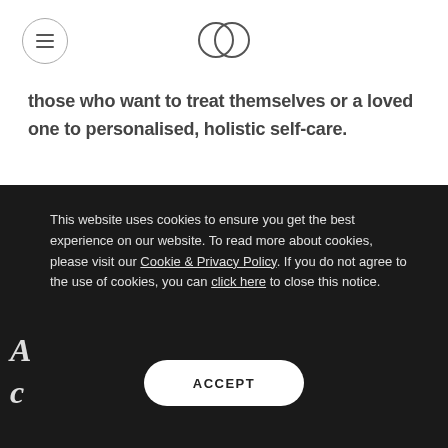[Navigation menu button and logo]
those who want to treat themselves or a loved one to personalised, holistic self-care.
This website uses cookies to ensure you get the best experience on our website. To read more about cookies, please visit our Cookie & Privacy Policy. If you do not agree to the use of cookies, you can click here to close this notice.
ACCEPT